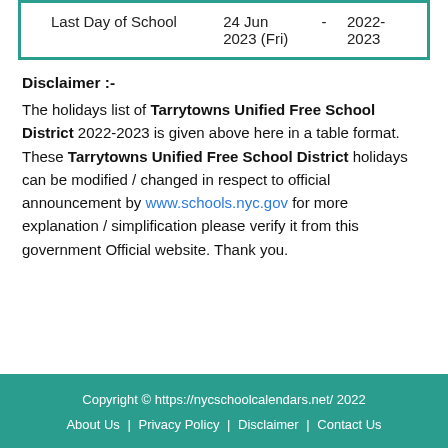| Last Day of School | 24 Jun 2023 (Fri) | - | 2022-2023 |
Disclaimer :-
The holidays list of Tarrytowns Unified Free School District 2022-2023 is given above here in a table format. These Tarrytowns Unified Free School District holidays can be modified / changed in respect to official announcement by www.schools.nyc.gov for more explanation / simplification please verify it from this government Official website. Thank you.
Copyright © https://nycschoolcalendars.net/ 2022 | About Us | Privacy Policy | Disclaimer | Contact Us